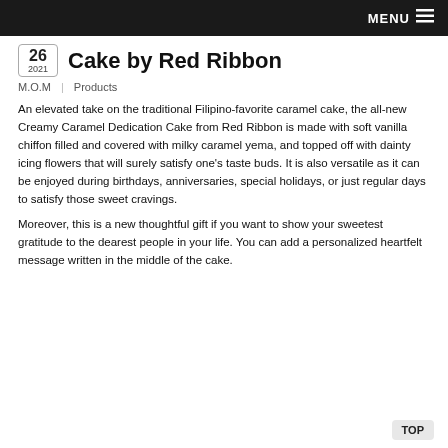MENU ≡
Cake by Red Ribbon
M.O.M   Products
An elevated take on the traditional Filipino-favorite caramel cake, the all-new Creamy Caramel Dedication Cake from Red Ribbon is made with soft vanilla chiffon filled and covered with milky caramel yema, and topped off with dainty icing flowers that will surely satisfy one's taste buds. It is also versatile as it can be enjoyed during birthdays, anniversaries, special holidays, or just regular days to satisfy those sweet cravings.
Moreover, this is a new thoughtful gift if you want to show your sweetest gratitude to the dearest people in your life. You can add a personalized heartfelt message written in the middle of the cake.